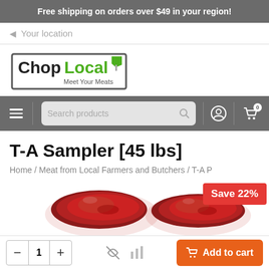Free shipping on orders over $49 in your region!
Your location
[Figure (logo): ChopLocal – Meet Your Meats logo with green and dark text inside a bracket frame]
[Figure (screenshot): Navigation bar with hamburger menu, search box reading 'Search products', user icon, and cart icon with badge showing 0]
T-A Sampler [45 lbs]
Home / Meat from Local Farmers and Butchers / T-A P
[Figure (photo): Two cuts of raw red meat (steaks) with a red 'Save 22%' badge in the top right corner]
− 1 + Add to cart